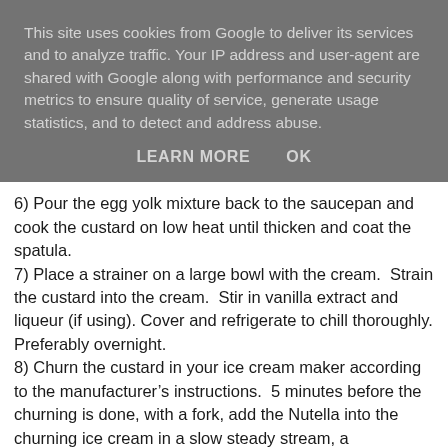This site uses cookies from Google to deliver its services and to analyze traffic. Your IP address and user-agent are shared with Google along with performance and security metrics to ensure quality of service, generate usage statistics, and to detect and address abuse.
LEARN MORE   OK
6) Pour the egg yolk mixture back to the saucepan and cook the custard on low heat until thicken and coat the spatula.
7) Place a strainer on a large bowl with the cream.  Strain the custard into the cream.  Stir in vanilla extract and liqueur (if using). Cover and refrigerate to chill thoroughly. Preferably overnight.
8) Churn the custard in your ice cream maker according to the manufacturer's instructions.  5 minutes before the churning is done, with a fork, add the Nutella into the churning ice cream in a slow steady stream, a tablespoon at a time.
9) Add the Dark Chocolate Covered Hazelnuts right before churning is done. Enjoy the ice cream as is for a soft serve texture. Or, place ice cream in a freezer safe container